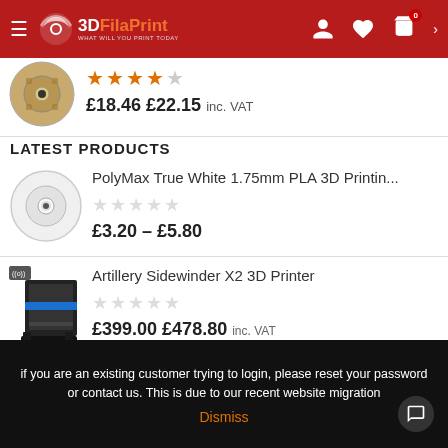[Figure (screenshot): 3DFilaPrint website header with logo, hamburger menu, user icon, heart icon, and cart icon with badge showing 0]
[Figure (photo): Gold/bronze 3D filament spool product thumbnail]
£18.46 £22.15 inc. VAT
LATEST PRODUCTS
[Figure (photo): White PolyMax filament spool product thumbnail]
PolyMax True White 1.75mm PLA 3D Printin...
£3.20 – £5.80
[Figure (photo): Artillery Sidewinder X2 3D Printer product thumbnail]
Artillery Sidewinder X2 3D Printer
£399.00 £478.80 inc. VAT
[Figure (photo): Artillery Genius 3D Printer product thumbnail]
Artillery Genius 3D Printer
if you are an existing customer trying to login, please reset your password or contact us. This is due to our recent website migration
Dismiss